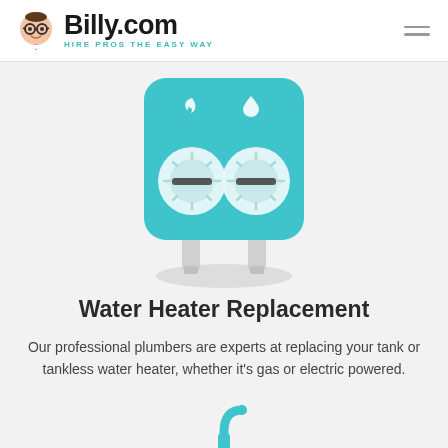Billy.com — HIRE PROS THE EASY WAY
[Figure (illustration): Illustration of a teal/turquoise tankless water heater unit with two dial knobs, flame and water drop icons, and two pipe connections at the bottom with a shadow beneath]
Water Heater Replacement
Our professional plumbers are experts at replacing your tank or tankless water heater, whether it's gas or electric powered.
[Figure (illustration): Partial illustration of a bathroom sink with teal faucet handles and tap, showing just the top portion of the sink basin]